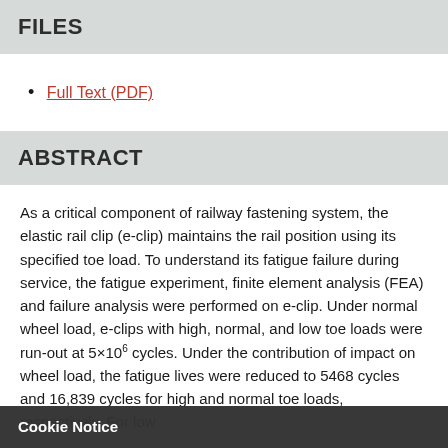FILES
Full Text (PDF)
ABSTRACT
As a critical component of railway fastening system, the elastic rail clip (e-clip) maintains the rail position using its specified toe load. To understand its fatigue failure during service, the fatigue experiment, finite element analysis (FEA) and failure analysis were performed on e-clip. Under normal wheel load, e-clips with high, normal, and low toe loads were run-out at 5×10⁶ cycles. Under the contribution of impact on wheel load, the fatigue lives were reduced to 5468 cycles and 16,839 cycles for high and normal toe loads, respectively. For low
Cookie Notice